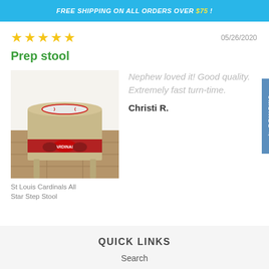FREE SHIPPING ON ALL ORDERS OVER $75 !
★★★★★   05/26/2020
Prep stool
[Figure (photo): Photo of a St Louis Cardinals All Star Step Stool — a small folding step stool with a baseball graphic on top and Cardinals branding on the legs.]
St Louis Cardinals All Star Step Stool
Nephew loved it! Good quality. Extremely fast turn-time.
Christi R.
QUICK LINKS
Search